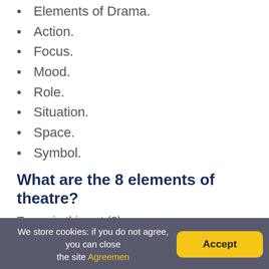Elements of Drama.
Action.
Focus.
Mood.
Role.
Situation.
Space.
Symbol.
What are the 8 elements of theatre?
Terms in this set (8)
PLOT. (The Most Dangerous Game)
DIALOGUE. (Catch the Moon)
CHARACTER. (The Secret Life of Walter Mitty)
AUDIENCE. (The Gift of the Magi)
We store cookies: if you do not agree, you can close the site Agreemen